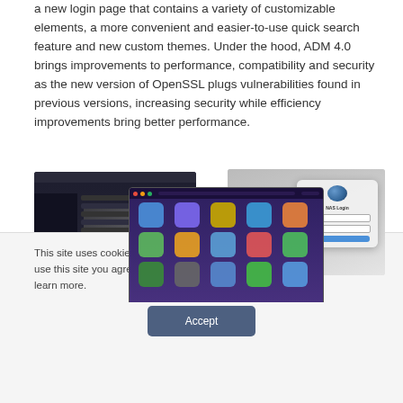a new login page that contains a variety of customizable elements, a more convenient and easier-to-use quick search feature and new custom themes. Under the hood, ADM 4.0 brings improvements to performance, compatibility and security as the new version of OpenSSL plugs vulnerabilities found in previous versions, increasing security while efficiency improvements bring better performance.
[Figure (screenshot): Three overlapping screenshots of ADM 4.0 interface: left shows a dark-themed media/file browser, center shows a purple app grid launcher with colorful app icons, right shows a macOS-style login dialog on a gray gradient background.]
This site uses cookies to improve your user experience. By continuing to use this site you agree to the use of cookies. View our Privacy Policy to learn more.
Accept